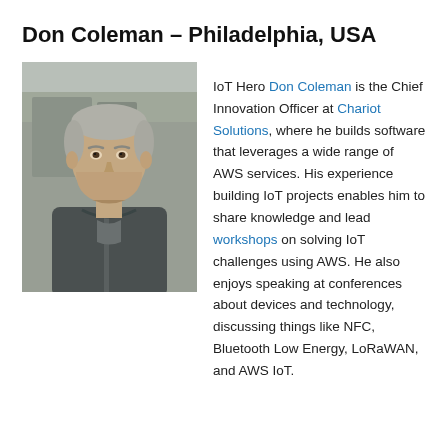Don Coleman – Philadelphia, USA
[Figure (photo): Headshot photo of Don Coleman, a middle-aged man with short gray hair wearing a dark gray zip-up fleece, photographed outdoors]
IoT Hero Don Coleman is the Chief Innovation Officer at Chariot Solutions, where he builds software that leverages a wide range of AWS services. His experience building IoT projects enables him to share knowledge and lead workshops on solving IoT challenges using AWS. He also enjoys speaking at conferences about devices and technology, discussing things like NFC, Bluetooth Low Energy, LoRaWAN, and AWS IoT.